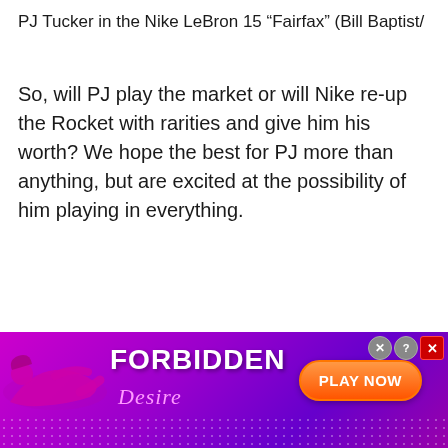PJ Tucker in the Nike LeBron 15 “Fairfax” (Bill Baptist/
So, will PJ play the market or will Nike re-up the Rocket with rarities and give him his worth? We hope the best for PJ more than anything, but are excited at the possibility of him playing in everything.
[Figure (other): Advertisement banner for 'Forbidden Desire' adult game with pink/purple gradient background, silhouette of reclining female figure, bold white text 'FORBIDDEN Desire', and an orange 'PLAY NOW' button. Has close/info buttons in top right corner.]